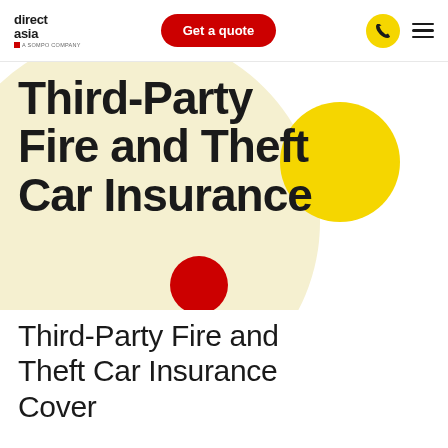direct asia — Get a quote
Third-Party Fire and Theft Car Insurance
Third-Party Fire and Theft Car Insurance Cover